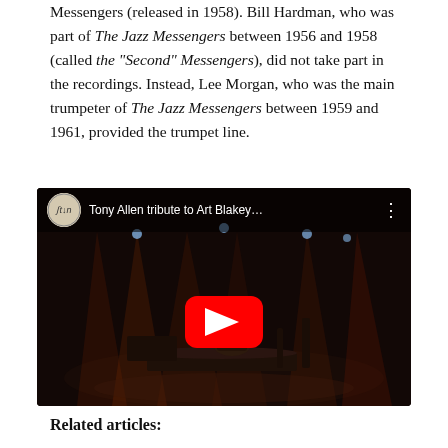Messengers (released in 1958). Bill Hardman, who was part of The Jazz Messengers between 1956 and 1958 (called the “Second” Messengers), did not take part in the recordings. Instead, Lee Morgan, who was the main trumpeter of The Jazz Messengers between 1959 and 1961, provided the trumpet line.
[Figure (screenshot): YouTube video thumbnail showing a jazz concert on stage with dramatic lighting. Title bar reads 'Tony Allen tribute to Art Blakey...' with a red YouTube play button in the center.]
Related articles: